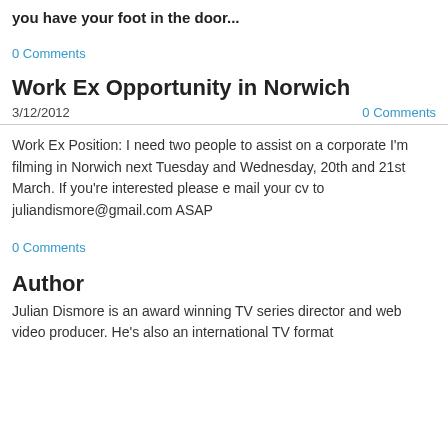you have your foot in the door...
0 Comments
Work Ex Opportunity in Norwich
3/12/2012   0 Comments
Work Ex Position: I need two people to assist on a corporate I'm filming in Norwich next Tuesday and Wednesday, 20th and 21st March. If you're interested please e mail your cv to juliandismore@gmail.com ASAP
0 Comments
Author
Julian Dismore is an award winning TV series director and web video producer. He's also an international TV format